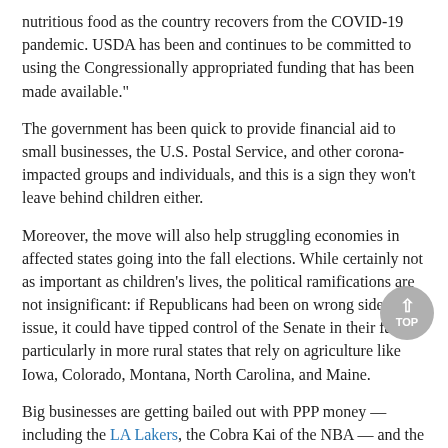nutritious food as the country recovers from the COVID-19 pandemic. USDA has been and continues to be committed to using the Congressionally appropriated funding that has been made available."
The government has been quick to provide financial aid to small businesses, the U.S. Postal Service, and other corona-impacted groups and individuals, and this is a sign they won’t leave behind children either.
Moreover, the move will also help struggling economies in affected states going into the fall elections. While certainly not as important as children’s lives, the political ramifications are not insignificant: if Republicans had been on wrong side of issue, it could have tipped control of the Senate in their favor, particularly in more rural states that rely on agriculture like Iowa, Colorado, Montana, North Carolina, and Maine.
Big businesses are getting bailed out with PPP money — including the LA Lakers, the Cobra Kai of the NBA — and the U.S. Postal Service is drooling over a $25 billion bailout.
Even if staunch ideological fiscal conservatives support government cost-cutting to find savings, cuts to the school lunch program would not be the place to start.